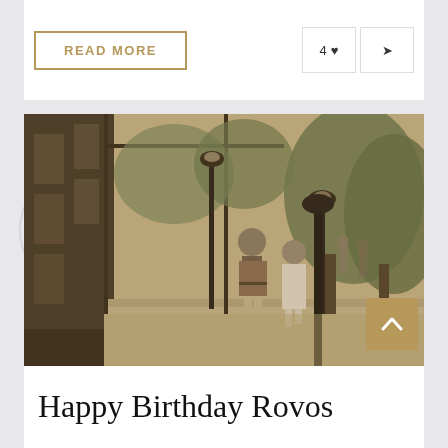READ MORE
4 ♥
[Figure (photo): Sepia-toned vintage photograph of a train platform scene. Two people walk along a platform beside a train on the left. Lamp posts, lush trees and shrubbery in the background. Additional people visible further along the platform.]
Happy Birthday Rovos